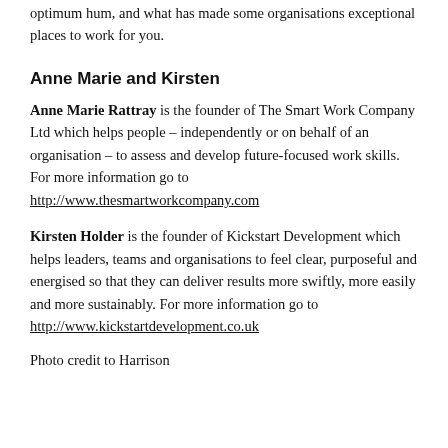optimum hum, and what has made some organisations exceptional places to work for you.
Anne Marie and Kirsten
Anne Marie Rattray is the founder of The Smart Work Company Ltd which helps people – independently or on behalf of an organisation – to assess and develop future-focused work skills. For more information go to http://www.thesmartworkcompany.com
Kirsten Holder is the founder of Kickstart Development which helps leaders, teams and organisations to feel clear, purposeful and energised so that they can deliver results more swiftly, more easily and more sustainably. For more information go to http://www.kickstartdevelopment.co.uk
Photo credit to Harrison